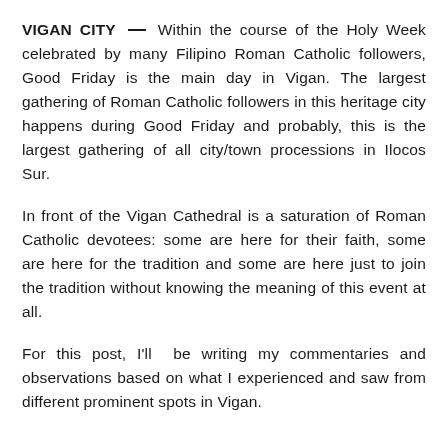VIGAN CITY — Within the course of the Holy Week celebrated by many Filipino Roman Catholic followers, Good Friday is the main day in Vigan. The largest gathering of Roman Catholic followers in this heritage city happens during Good Friday and probably, this is the largest gathering of all city/town processions in Ilocos Sur.
In front of the Vigan Cathedral is a saturation of Roman Catholic devotees: some are here for their faith, some are here for the tradition and some are here just to join the tradition without knowing the meaning of this event at all.
For this post, I'll be writing my commentaries and observations based on what I experienced and saw from different prominent spots in Vigan.